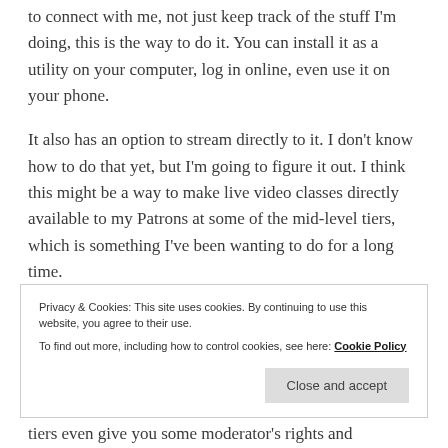to connect with me, not just keep track of the stuff I'm doing, this is the way to do it. You can install it as a utility on your computer, log in online, even use it on your phone.
It also has an option to stream directly to it. I don't know how to do that yet, but I'm going to figure it out. I think this might be a way to make live video classes directly available to my Patrons at some of the mid-level tiers, which is something I've been wanting to do for a long time.
Privacy & Cookies: This site uses cookies. By continuing to use this website, you agree to their use. To find out more, including how to control cookies, see here: Cookie Policy
Close and accept
tiers even give you some moderator's rights and